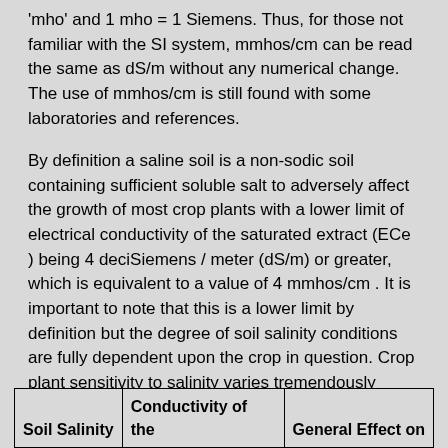'mho' and 1 mho = 1 Siemens. Thus, for those not familiar with the SI system, mmhos/cm can be read the same as dS/m without any numerical change.  The use of mmhos/cm is still found with some laboratories and references.
By definition a saline soil is a non-sodic soil containing sufficient soluble salt to adversely affect the growth of most crop plants with a lower limit of electrical conductivity of the saturated extract (ECe ) being 4 deciSiemens / meter (dS/m) or greater, which is equivalent to a value of 4 mmhos/cm . It is important to note that this is a lower limit by definition but the degree of soil salinity conditions are fully dependent upon the crop in question.  Crop plant sensitivity to salinity varies tremendously among species (Tables 1 and 2).
| Soil Salinity | Conductivity of the | General Effect on |
| --- | --- | --- |